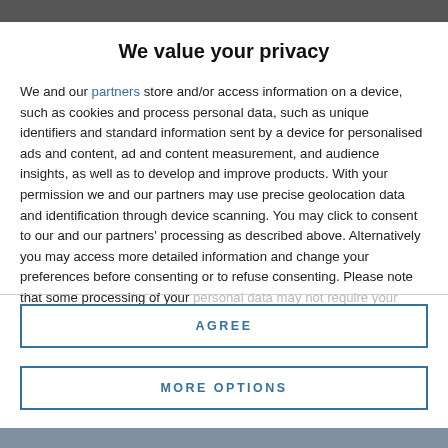We value your privacy
We and our partners store and/or access information on a device, such as cookies and process personal data, such as unique identifiers and standard information sent by a device for personalised ads and content, ad and content measurement, and audience insights, as well as to develop and improve products. With your permission we and our partners may use precise geolocation data and identification through device scanning. You may click to consent to our and our partners' processing as described above. Alternatively you may access more detailed information and change your preferences before consenting or to refuse consenting. Please note that some processing of your personal data may not require your consent, but you have a right to
AGREE
MORE OPTIONS
[Figure (photo): Partially visible background image below the modal dialog]